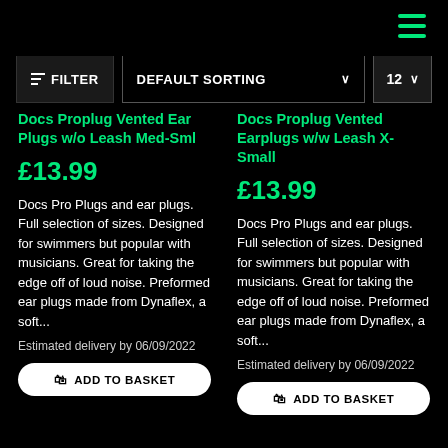hamburger menu icon
FILTER | DEFAULT SORTING | 12
Docs Proplug Vented Ear Plugs w/o Leash Med-Sml
£13.99
Docs Pro Plugs and ear plugs. Full selection of sizes. Designed for swimmers but popular with musicians. Great for taking the edge off of loud noise. Preformed ear plugs made from Dynaflex, a soft...
Estimated delivery by 06/09/2022
ADD TO BASKET
Docs Proplug Vented Earplugs w/w Leash X-Small
£13.99
Docs Pro Plugs and ear plugs. Full selection of sizes. Designed for swimmers but popular with musicians. Great for taking the edge off of loud noise. Preformed ear plugs made from Dynaflex, a soft...
Estimated delivery by 06/09/2022
ADD TO BASKET